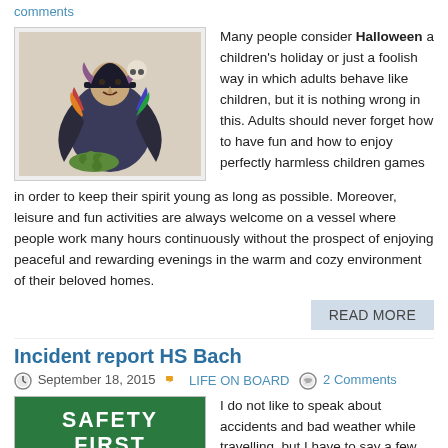comments
[Figure (illustration): Colorful Halloween witch illustration holding a skull and a tray of fruit/vegetables]
Many people consider Halloween a children's holiday or just a foolish way in which adults behave like children, but it is nothing wrong in this. Adults should never forget how to have fun and how to enjoy perfectly harmless children games in order to keep their spirit young as long as possible. Moreover, leisure and fun activities are always welcome on a vessel where people work many hours continuously without the prospect of enjoying peaceful and rewarding evenings in the warm and cozy environment of their beloved homes.
READ MORE
Incident report HS Bach
September 18, 2015  LIFE ON BOARD  2 Comments
[Figure (photo): Green safety sign reading SAFETY FIRST]
I do not like to speak about accidents and bad weather while travelling, but I have to say a few